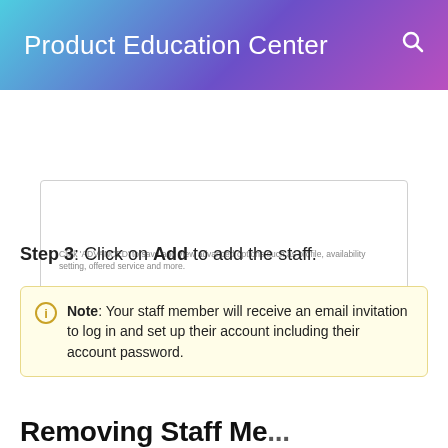Product Education Center
[Figure (screenshot): A dialog box showing CANCEL, ADVANCED, and ADD buttons, with helper text reading: Click 'ADVANCED' to save and view advanced options such as profile, availability setting, offered service and more.]
Step 3: Click on Add to add the staff.
Note: Your staff member will receive an email invitation to log in and set up their account including their account password.
Removing Staff Me...